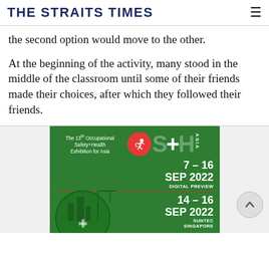THE STRAITS TIMES
the second option would move to the other.
At the beginning of the activity, many stood in the middle of the classroom until some of their friends made their choices, after which they followed their friends.
[Figure (advertisement): OSH Asia advertisement — The 13th Occupational Safety+Health Exhibition for Asia. 7–16 SEP 2022 DIGITAL PREVIEW, 14–16 SEP 2022 SUNTEC SINGAPORE. Green background with construction illustration and OSH logo.]